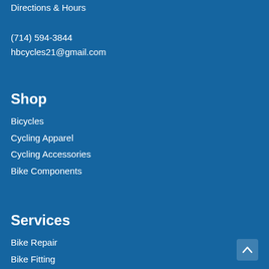Directions & Hours
(714) 594-3844
hbcycles21@gmail.com
Shop
Bicycles
Cycling Apparel
Cycling Accessories
Bike Components
Services
Bike Repair
Bike Fitting
Bike Rental